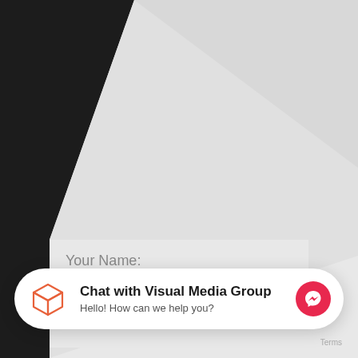[Figure (screenshot): Dark background with a large light gray diagonal card/panel shape overlaid. The card has a form section with a 'Your Name:' label and a white input field. A chat widget bar at the bottom shows a box icon, 'Chat with Visual Media Group' title, subtitle 'Hello! How can we help you?', and a Facebook Messenger icon button on the right.]
Your Name:
Chat with Visual Media Group
Hello! How can we help you?
Terms